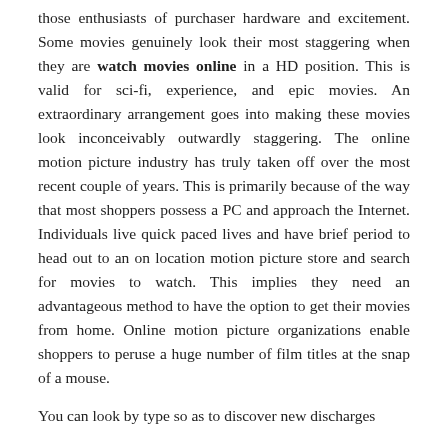those enthusiasts of purchaser hardware and excitement. Some movies genuinely look their most staggering when they are watch movies online in a HD position. This is valid for sci-fi, experience, and epic movies. An extraordinary arrangement goes into making these movies look inconceivably outwardly staggering. The online motion picture industry has truly taken off over the most recent couple of years. This is primarily because of the way that most shoppers possess a PC and approach the Internet. Individuals live quick paced lives and have brief period to head out to an on location motion picture store and search for movies to watch. This implies they need an advantageous method to have the option to get their movies from home. Online motion picture organizations enable shoppers to peruse a huge number of film titles at the snap of a mouse.
You can look by type so as to discover new discharges